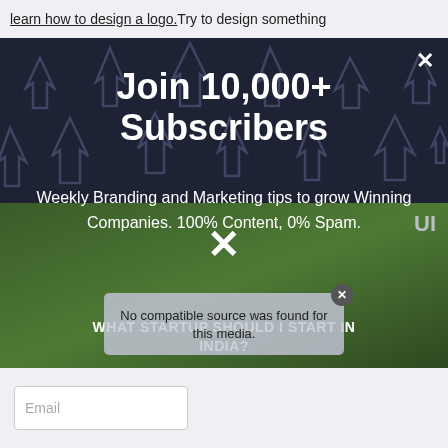learn how to design a logo. Try to design something
[Figure (screenshot): Dark navy modal popup with arrow/cursor icon pattern background showing newsletter signup. Contains title 'Join 10,000+ Subscribers', subtitle text about weekly branding tips, a video error message overlay, and a video thumbnail with text 'WHAT STARTUP SHOULD I START IN INDIA?']
Join 10,000+ Subscribers
Weekly Branding and Marketing tips to grow Winning Companies. 100% Content, 0% Spam.
No compatible source was found for this media.
WHAT STARTUP SHOULD I START IN INDIA?
Email